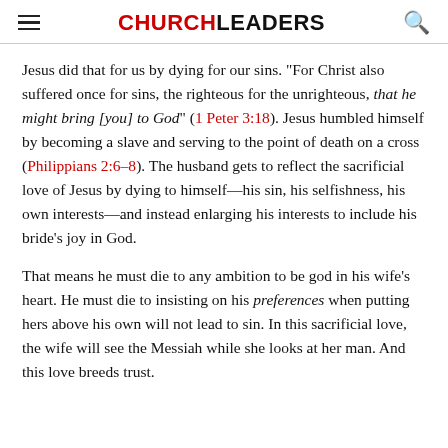CHURCHLEADERS
Jesus did that for us by dying for our sins. "For Christ also suffered once for sins, the righteous for the unrighteous, that he might bring [you] to God" (1 Peter 3:18). Jesus humbled himself by becoming a slave and serving to the point of death on a cross (Philippians 2:6–8). The husband gets to reflect the sacrificial love of Jesus by dying to himself—his sin, his selfishness, his own interests—and instead enlarging his interests to include his bride's joy in God.
That means he must die to any ambition to be god in his wife's heart. He must die to insisting on his preferences when putting hers above his own will not lead to sin. In this sacrificial love, the wife will see the Messiah while she looks at her man. And this love breeds trust.